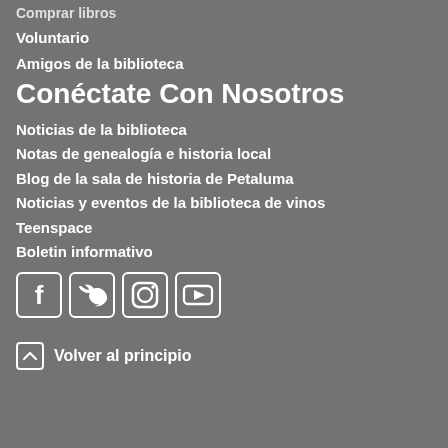Comprar libros
Voluntario
Amigos de la biblioteca
Conéctate Con Nosotros
Noticias de la biblioteca
Notas de genealogía e historia local
Blog de la sala de historia de Petaluma
Noticias y eventos de la biblioteca de vinos
Teenspace
Boletin informativo
[Figure (infographic): Social media icons: Facebook, Twitter, Instagram, YouTube]
Volver al principio